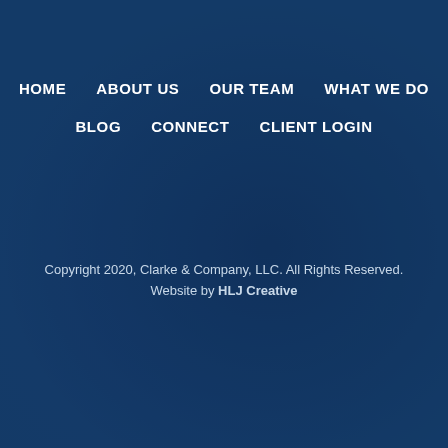[Figure (photo): Dark blue toned background photo of hands clasped together, possibly in a professional or insurance context, with a dark navy blue overlay.]
HOME
ABOUT US
OUR TEAM
WHAT WE DO
BLOG
CONNECT
CLIENT LOGIN
Copyright 2020, Clarke & Company, LLC. All Rights Reserved.
Website by HLJ Creative